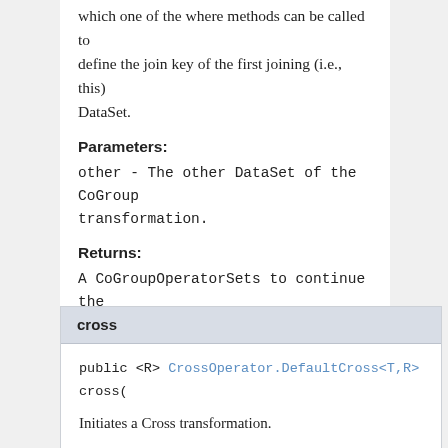which one of the where methods can be called to define the join key of the first joining (i.e., this) DataSet.
Parameters:
other - The other DataSet of the CoGroup transformation.
Returns:
A CoGroupOperatorSets to continue the definition of the CoGroup transformation.
See Also:
CoGroupOperator.CoGroupOperatorSets, CoGroupOperator, DataSet
cross
public <R> CrossOperator.DefaultCross<T,R> cross(
Initiates a Cross transformation.
A Cross transformation combines the elements of